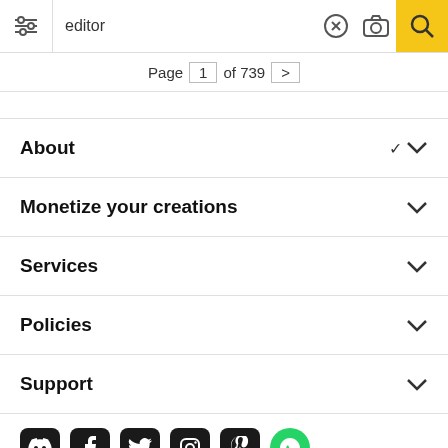editor — search bar with filter, clear, camera, and search icons
Page 1 of 739 >
About
Monetize your creations
Services
Policies
Support
[Figure (other): Social media icons: Discord, Facebook, Twitter, Instagram, Pinterest, WhatsApp]
All rights reserved. © Inmagine Lab Pte Ltd 2022.